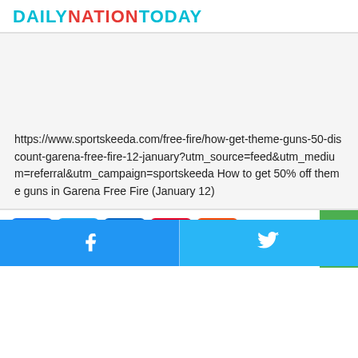DAILYNATIONTODAY
https://www.sportskeeda.com/free-fire/how-get-theme-guns-50-discount-garena-free-fire-12-january?utm_source=feed&utm_medium=referral&utm_campaign=sportskeeda How to get 50% off theme guns in Garena Free Fire (January 12)
[Figure (infographic): Social share buttons: Facebook, Twitter, LinkedIn, Pinterest, Reddit; scroll-to-top button; bottom bar with Facebook and Twitter icons]